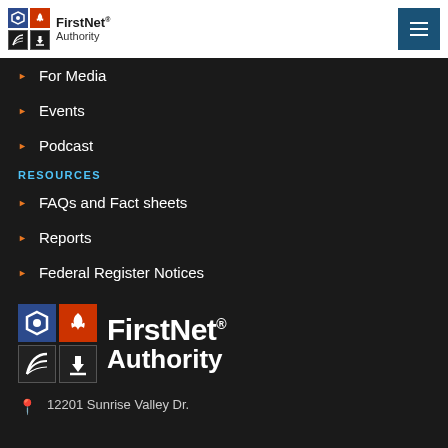[Figure (logo): FirstNet Authority logo in header bar, top-left, color version with icon grid and text]
[Figure (logo): Hamburger menu button, dark blue square with three white horizontal lines]
For Media
Events
Podcast
RESOURCES
FAQs and Fact sheets
Reports
Federal Register Notices
[Figure (logo): FirstNet Authority large white logo on dark background, with icon grid and large white text]
12201 Sunrise Valley Dr.